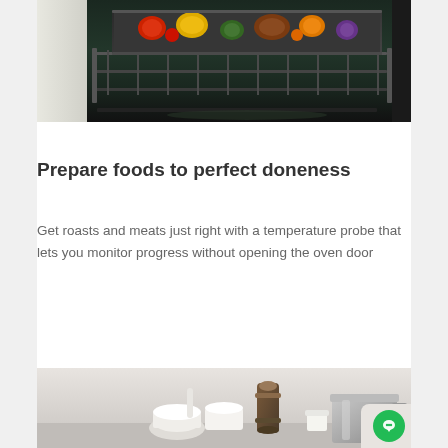[Figure (photo): Close-up photo of an open oven with a baking tray containing colorful roasted vegetables and meats on the oven rack]
Prepare foods to perfect doneness
Get roasts and meats just right with a temperature probe that lets you monitor progress without opening the oven door
[Figure (photo): Kitchen counter scene with a pepper grinder, mortar and pestle, and a stainless steel pot against a light background]